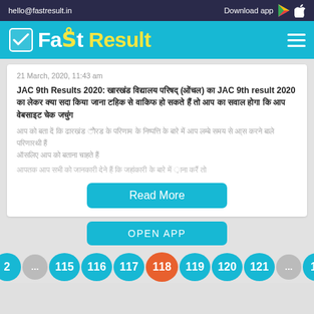hello@fastresult.in | Download app
[Figure (logo): Fast Result logo with checkmark icon, white and yellow text on teal background]
21 March, 2020, 11:43 am
JAC 9th Results 2020: [Hindi text] (झारखण्ड) का JAC 9th result 2020 का [Hindi text]
[Hindi body text about JAC 9th result]
Read More
OPEN APP
2 ... 115 116 117 118 119 120 121 ... 15